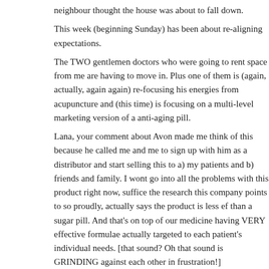neighbour thought the house was about to fall down.
This week (beginning Sunday) has been about re-aligning expectations.
The TWO gentlemen doctors who were going to rent space from me are having to move in. Plus one of them is (again, actually, again again) re-focusing his energies from acupuncture and (this time) is focusing on a multi-level marketing version of a anti-aging pill.
Lana, your comment about Avon made me think of this because he called me and me to sign up with him as a distributor and start selling this to a) my patients and b) friends and family. I wont go into all the problems with this product right now, suffice the research this company points to so proudly, actually says the product is less ef than a sugar pill. And that's on top of our medicine having VERY effective formulae actually targeted to each patient's individual needs. [that sound? Oh that sound is GRINDING against each other in frustration!]
So that's the update for Wednesday.
Hugs y'all –
Dia
Lana Says:
May 3rd, 2012 at 9:19 am
Well Dia!
I think as a Homeopath Sarah would have something to say, or think, about that!
I can hear a fair bit of tooth gnashing from here too, subliminally. It just feels as tho of minor issues are surfacing and syphoning energy from the main issues.